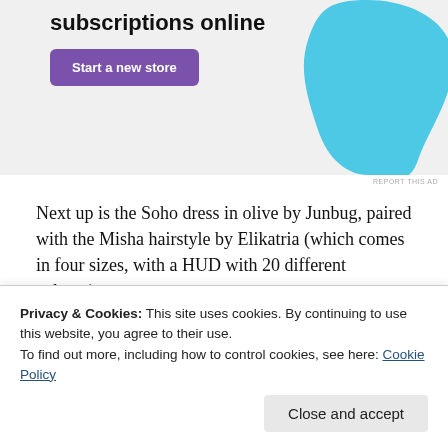[Figure (other): Advertisement banner with text 'subscriptions online', a purple 'Start a new store' button, and a cyan/blue decorative blob shape on the right side, on a light grey background.]
REPORT THIS AD
Next up is the Soho dress in olive by Junbug, paired with the Misha hairstyle by Elikatria (which comes in four sizes, with a HUD with 20 different colours):
[Figure (photo): Photo showing a virtual avatar from behind with dark brown hair, wearing an olive dress, standing in front of a blue sky and water/sea horizon. The lower portion is partially obscured by a cookie consent banner showing the top of an olive green dress.]
Privacy & Cookies: This site uses cookies. By continuing to use this website, you agree to their use.
To find out more, including how to control cookies, see here: Cookie Policy
Close and accept